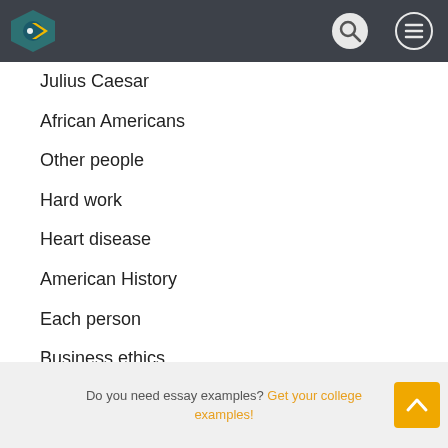Julius Caesar
African Americans
Other people
Hard work
Heart disease
American History
Each person
Business ethics
Evolution
Differences
Social
Quality management
Global warming
Do you need essay examples? Get your college examples!